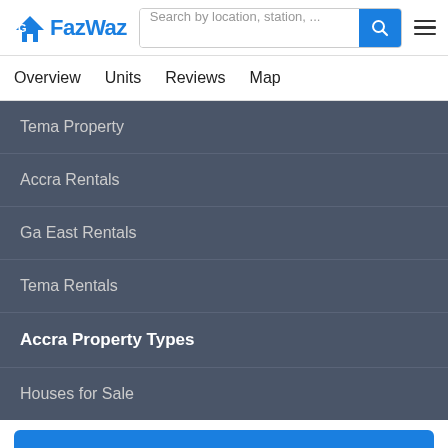FazWaz - Search by location, station, ...
Overview
Units
Reviews
Map
Tema Property
Accra Rentals
Ga East Rentals
Tema Rentals
Accra Property Types
Houses for Sale
Log in to access deals
Member-Only Deals - Save up to 10%
Request Details